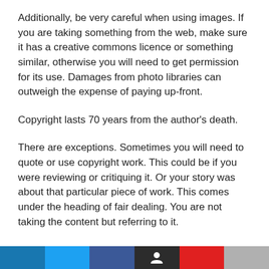Additionally, be very careful when using images. If you are taking something from the web, make sure it has a creative commons licence or something similar, otherwise you will need to get permission for its use. Damages from photo libraries can outweigh the expense of paying up-front.
Copyright lasts 70 years from the author's death.
There are exceptions. Sometimes you will need to quote or use copyright work. This could be if you were reviewing or critiquing it. Or your story was about that particular piece of work. This comes under the heading of fair dealing. You are not taking the content but referring to it.
Conclusion
This is by no means a complete guide and there are whole books written on media law.
[Figure (other): Social media sharing bar with colored segments: blue, light blue, dark blue/navy, dark/black, red, gray]